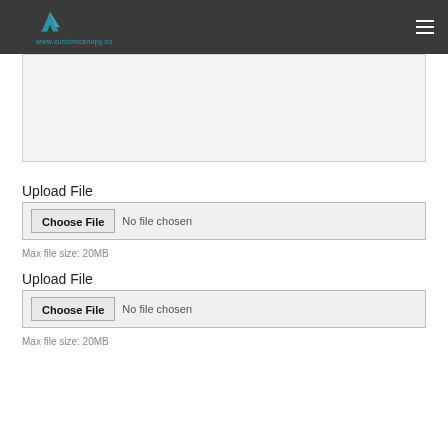www.customcanopy.co
Details, Pavilion or any other Comments:
Upload File
[Figure (screenshot): File input control showing 'Choose File' button and 'No file chosen' text]
Max file size: 20MB
Upload File
[Figure (screenshot): File input control showing 'Choose File' button and 'No file chosen' text]
Max file size: 20MB